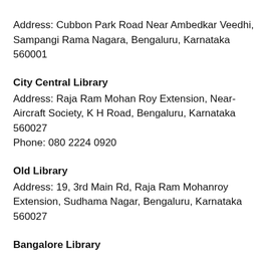Address: Cubbon Park Road Near Ambedkar Veedhi, Sampangi Rama Nagara, Bengaluru, Karnataka 560001
City Central Library
Address: Raja Ram Mohan Roy Extension, Near-Aircraft Society, K H Road, Bengaluru, Karnataka 560027
Phone: 080 2224 0920
Old Library
Address: 19, 3rd Main Rd, Raja Ram Mohanroy Extension, Sudhama Nagar, Bengaluru, Karnataka 560027
Bangalore Library